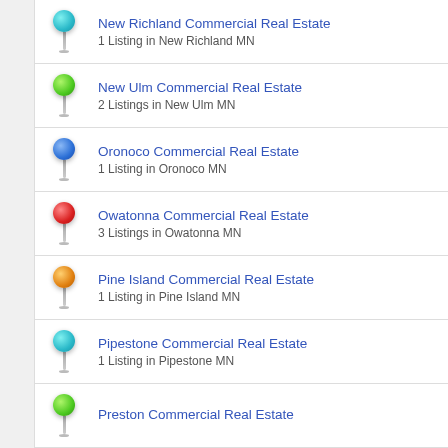New Richland Commercial Real Estate
1 Listing in New Richland MN
New Ulm Commercial Real Estate
2 Listings in New Ulm MN
Oronoco Commercial Real Estate
1 Listing in Oronoco MN
Owatonna Commercial Real Estate
3 Listings in Owatonna MN
Pine Island Commercial Real Estate
1 Listing in Pine Island MN
Pipestone Commercial Real Estate
1 Listing in Pipestone MN
Preston Commercial Real Estate